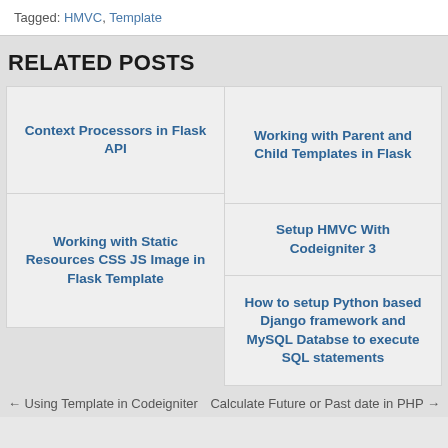Tagged: HMVC, Template
RELATED POSTS
Context Processors in Flask API
Working with Parent and Child Templates in Flask
Working with Static Resources CSS JS Image in Flask Template
Setup HMVC With Codeigniter 3
How to setup Python based Django framework and MySQL Databse to execute SQL statements
← Using Template in Codeigniter   Calculate Future or Past date in PHP →